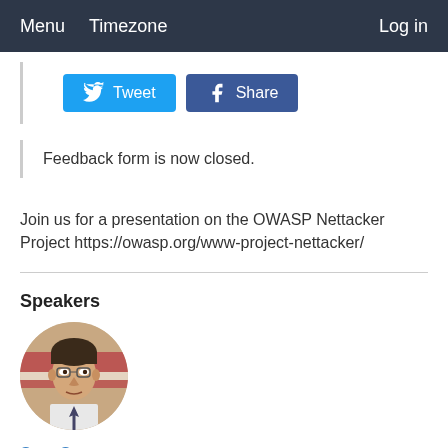Menu  Timezone  Log in
[Figure (screenshot): Social sharing buttons: Tweet (Twitter) and Share (Facebook)]
Feedback form is now closed.
Join us for a presentation on the OWASP Nettacker Project https://owasp.org/www-project-nettacker/
Speakers
[Figure (photo): Circular profile photo of Sam Stepanyan, a man wearing glasses and a suit with a tie, American flag in background]
Sam Stepanyan
OWASP London Chapter Leader, OWASP London